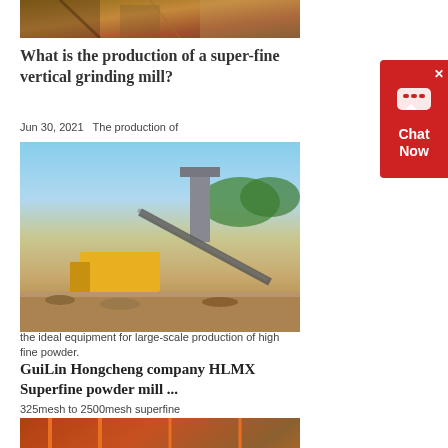[Figure (photo): Partial view of industrial mining/quarry site, top cropped image]
What is the production of a super-fine vertical grinding mill?
Jun 30, 2021   The production of
[Figure (photo): Industrial quarry/mining site with yellow machinery, conveyor belts, and a silo in the background]
the ideal equipment for large-scale production of high fine powder.
GuiLin Hongcheng company HLMX Superfine powder mill ...
325mesh to 2500mesh superfine
[Figure (photo): Industrial crushing/grinding equipment site with orange-red machinery and scaffold structures]
Superfine Powder Grinding Mill in GuiLin ...